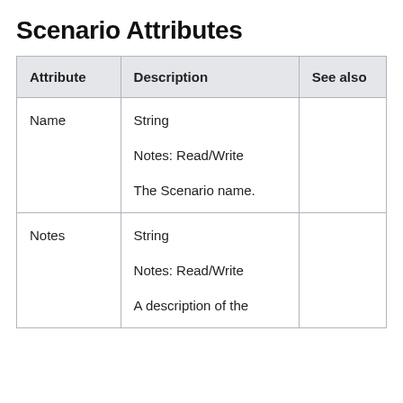Scenario Attributes
| Attribute | Description | See also |
| --- | --- | --- |
| Name | String

Notes: Read/Write

The Scenario name. |  |
| Notes | String

Notes: Read/Write

A description of the |  |